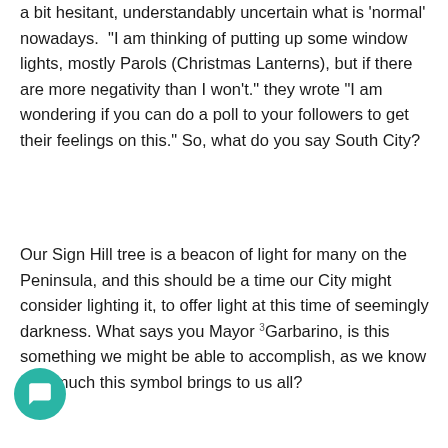a bit hesitant, understandably uncertain what is 'normal' nowadays. "I am thinking of putting up some window lights, mostly Parols (Christmas Lanterns), but if there are more negativity than I won't." they wrote "I am wondering if you can do a poll to your followers to get their feelings on this." So, what do you say South City?
Our Sign Hill tree is a beacon of light for many on the Peninsula, and this should be a time our City might consider lighting it, to offer light at this time of seemingly darkness. What says you Mayor Garbarino, is this something we might be able to accomplish, as we know how much this symbol brings to us all?